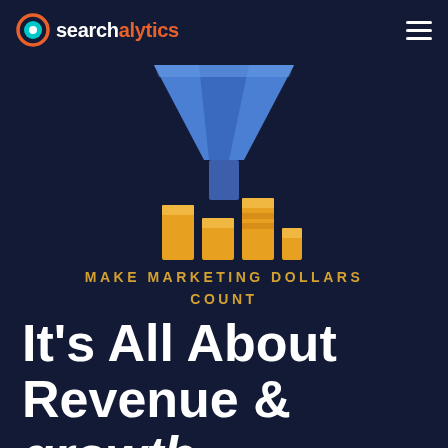[Figure (logo): Searchalytics logo: circular icon with teal and orange ring on left, followed by text 'search' in white and 'alytics' in orange]
[Figure (illustration): Marketing funnel illustration: blue funnel shape at top pouring into gold/yellow bar chart stacks below, representing converting marketing spend into revenue]
MAKE MARKETING DOLLARS COUNT
It's All About Revenue & growth